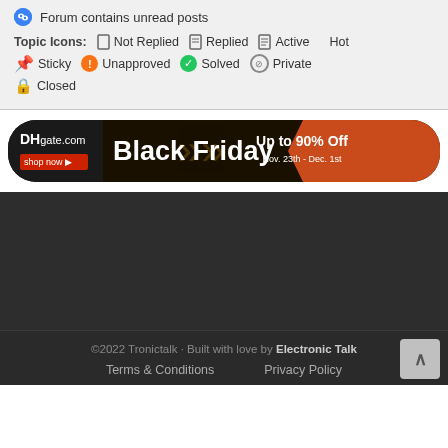Forum contains unread posts
Topic Icons: Not Replied  Replied  Active  Hot  Sticky  Unapproved  Solved  Private  Closed
[Figure (infographic): DHgate.com Black Friday advertisement banner: Up to 90% Off, Nov. 23th - Dec. 1st, shop now button]
©2022 Tronictalk · Built with love by Electronic Talk
Terms & Conditions   Privacy Policy